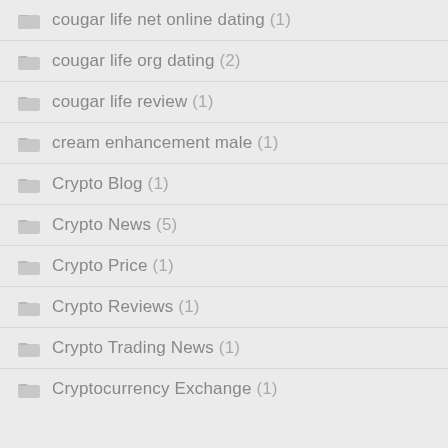cougar life net online dating (1)
cougar life org dating (2)
cougar life review (1)
cream enhancement male (1)
Crypto Blog (1)
Crypto News (5)
Crypto Price (1)
Crypto Reviews (1)
Crypto Trading News (1)
Cryptocurrency Exchange (1)